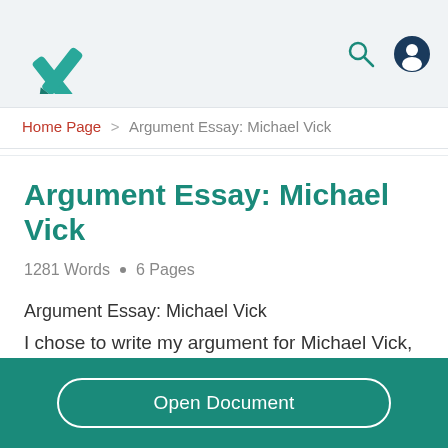StudyMode logo with search and user icons
Home Page > Argument Essay: Michael Vick
Argument Essay: Michael Vick
1281 Words  •  6 Pages
Argument Essay: Michael Vick
I chose to write my argument for Michael Vick,
Open Document